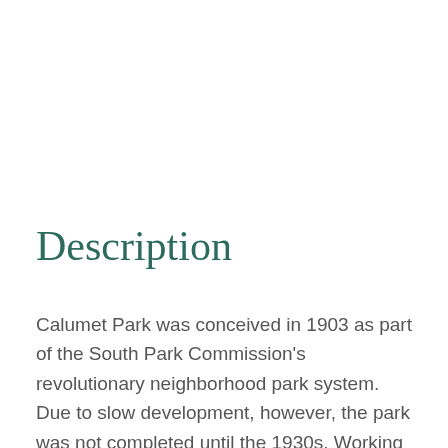Description
Calumet Park was conceived in 1903 as part of the South Park Commission's revolutionary neighborhood park system. Due to slow development, however, the park was not completed until the 1930s. Working in the style and spirit of D. H. Burnham and Company, the